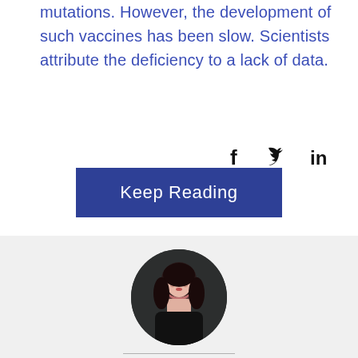mutations. However, the development of such vaccines has been slow. Scientists attribute the deficiency to a lack of data.
Keep Reading
[Figure (infographic): Social media share icons: Facebook (f), Twitter (bird), LinkedIn (in)]
[Figure (photo): Circular profile photo of a woman with dark hair wearing a black outfit against a dark background]